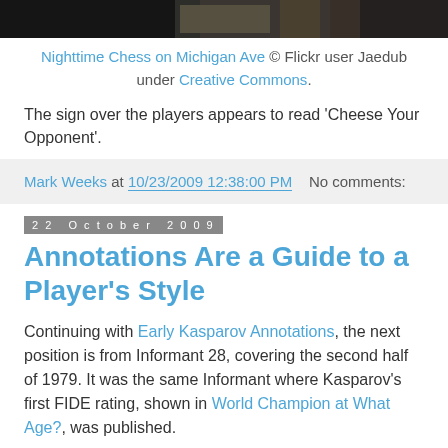[Figure (photo): Cropped top portion of a nighttime chess photo on Michigan Ave]
Nighttime Chess on Michigan Ave © Flickr user Jaedub under Creative Commons.
The sign over the players appears to read 'Cheese Your Opponent'.
Mark Weeks at 10/23/2009 12:38:00 PM   No comments:
22 October 2009
Annotations Are a Guide to a Player's Style
Continuing with Early Kasparov Annotations, the next position is from Informant 28, covering the second half of 1979. It was the same Informant where Kasparov's first FIDE rating, shown in World Champion at What Age?, was published.
In December 1979, 16-year old IM Kasparov was an